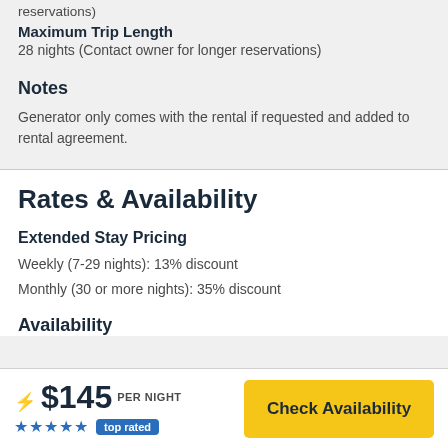reservations)
Maximum Trip Length
28 nights (Contact owner for longer reservations)
Notes
Generator only comes with the rental if requested and added to rental agreement.
Rates & Availability
Extended Stay Pricing
Weekly (7-29 nights): 13% discount
Monthly (30 or more nights): 35% discount
Availability
⚡ $145 PER NIGHT ★★★★★ top rated
Check Availability